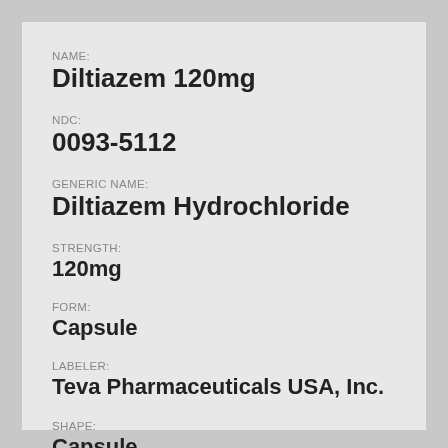NAME: Diltiazem 120mg
NDC: 0093-5112
GENERIC NAME: Diltiazem Hydrochloride
STRENGTH: 120mg
FORM: Capsule
LABELER: Teva Pharmaceuticals USA, Inc.
SHAPE: Capsule
COLOR: Green